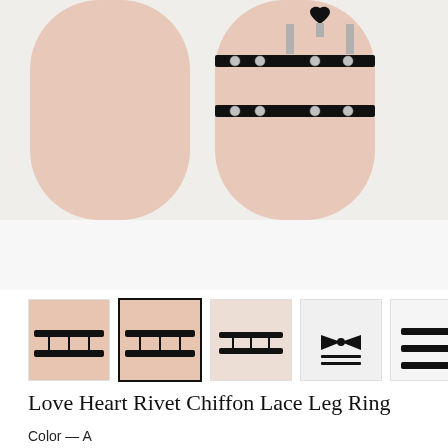[Figure (photo): Main product photo showing leg garters/leg rings with black leather straps and silver rivets worn on mannequin legs, with white background below]
[Figure (photo): Row of 5 thumbnail images of the Love Heart Rivet Chiffon Lace Leg Ring product from various angles; second thumbnail is selected with bold border]
Love Heart Rivet Chiffon Lace Leg Ring
Color — A
[Figure (other): Two color swatches: first is white with black border (selected), second is light beige/off-white with light border]